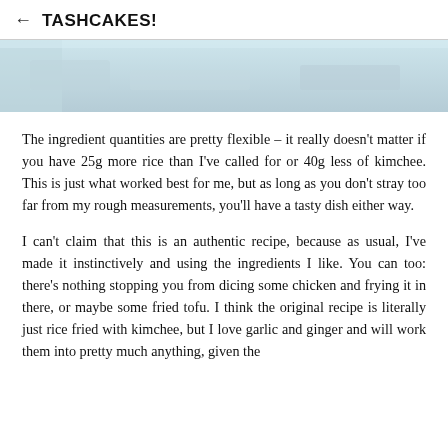← TASHCAKES!
[Figure (photo): Partial image of food or recipe content, light blue/grey tones, cropped at top]
The ingredient quantities are pretty flexible – it really doesn't matter if you have 25g more rice than I've called for or 40g less of kimchee. This is just what worked best for me, but as long as you don't stray too far from my rough measurements, you'll have a tasty dish either way.
I can't claim that this is an authentic recipe, because as usual, I've made it instinctively and using the ingredients I like. You can too: there's nothing stopping you from dicing some chicken and frying it in there, or maybe some fried tofu. I think the original recipe is literally just rice fried with kimchee, but I love garlic and ginger and will work them into pretty much anything, given the